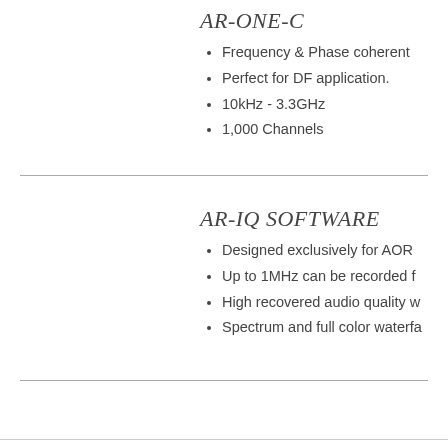AR-ONE-C
Frequency & Phase coherent
Perfect for DF application.
10kHz - 3.3GHz
1,000 Channels
AR-IQ SOFTWARE
Designed exclusively for AOR
Up to 1MHz can be recorded f
High recovered audio quality w
Spectrum and full color waterfa